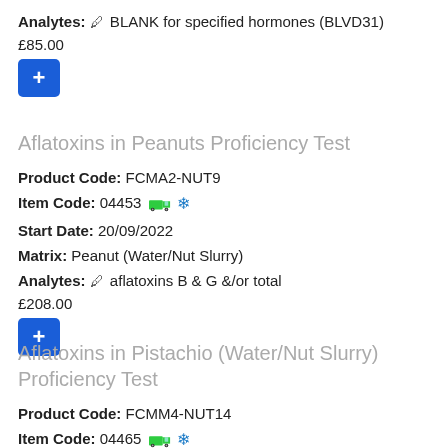Analytes: ✏ BLANK for specified hormones (BLVD31)
£85.00
[Figure (other): Blue add (+) button]
Aflatoxins in Peanuts Proficiency Test
Product Code: FCMA2-NUT9
Item Code: 04453 🚚 ❄
Start Date: 20/09/2022
Matrix: Peanut (Water/Nut Slurry)
Analytes: ✏ aflatoxins B & G &/or total
£208.00
[Figure (other): Blue add (+) button]
Aflatoxins in Pistachio (Water/Nut Slurry) Proficiency Test
Product Code: FCMM4-NUT14
Item Code: 04465 🚚 ❄
Start Date: 04/01/2023